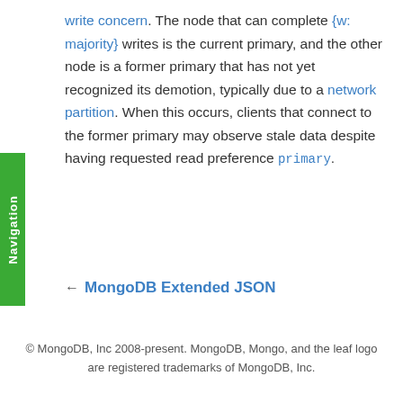write concern. The node that can complete {w: majority} writes is the current primary, and the other node is a former primary that has not yet recognized its demotion, typically due to a network partition. When this occurs, clients that connect to the former primary may observe stale data despite having requested read preference primary.
← MongoDB Extended JSON
© MongoDB, Inc 2008-present. MongoDB, Mongo, and the leaf logo are registered trademarks of MongoDB, Inc.